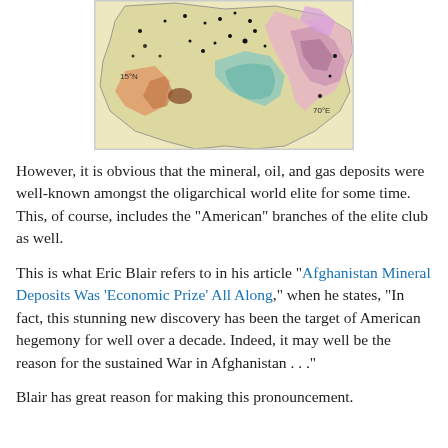[Figure (map): Geological/mineral deposit map of Afghanistan showing colorful geological formations with coordinate labels 15°N and 70°E, various mineral deposit markers as dots across the terrain.]
However, it is obvious that the mineral, oil, and gas deposits were well-known amongst the oligarchical world elite for some time. This, of course, includes the "American" branches of the elite club as well.
This is what Eric Blair refers to in his article "Afghanistan Mineral Deposits Was 'Economic Prize' All Along," when he states, "In fact, this stunning new discovery has been the target of American hegemony for well over a decade. Indeed, it may well be the reason for the sustained War in Afghanistan . . ."
Blair has great reason for making this pronouncement.